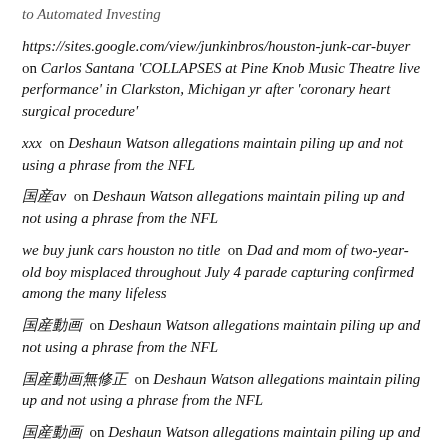to Automated Investing
https://sites.google.com/view/junkinbros/houston-junk-car-buyer on Carlos Santana 'COLLAPSES at Pine Knob Music Theatre live performance' in Clarkston, Michigan yr after 'coronary heart surgical procedure'
xxx on Deshaun Watson allegations maintain piling up and not using a phrase from the NFL
国産av on Deshaun Watson allegations maintain piling up and not using a phrase from the NFL
we buy junk cars houston no title on Dad and mom of two-year-old boy misplaced throughout July 4 parade capturing confirmed among the many lifeless
国産動画 on Deshaun Watson allegations maintain piling up and not using a phrase from the NFL
国産動画無修正 on Deshaun Watson allegations maintain piling up and not using a phrase from the NFL
国産動画 on Deshaun Watson allegations maintain piling up and not